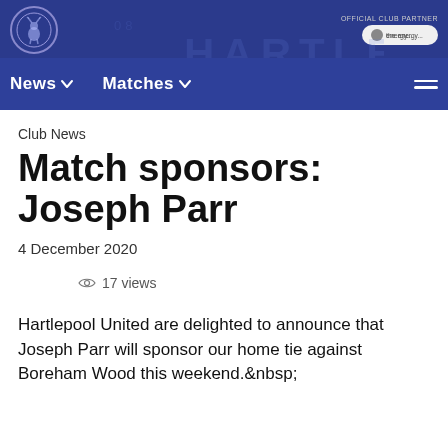Hartlepool United club website header with logo, navigation: News, Matches, and menu icon
Club News
Match sponsors: Joseph Parr
4 December 2020
17 views
Hartlepool United are delighted to announce that Joseph Parr will sponsor our home tie against Boreham Wood this weekend.